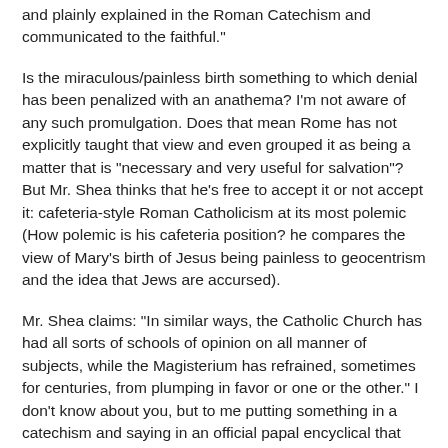and plainly explained in the Roman Catechism and communicated to the faithful."
Is the miraculous/painless birth something to which denial has been penalized with an anathema? I'm not aware of any such promulgation. Does that mean Rome has not explicitly taught that view and even grouped it as being a matter that is "necessary and very useful for salvation"? But Mr. Shea thinks that he's free to accept it or not accept it: cafeteria-style Roman Catholicism at its most polemic (How polemic is his cafeteria position? he compares the view of Mary's birth of Jesus being painless to geocentrism and the idea that Jews are accursed).
Mr. Shea claims: "In similar ways, the Catholic Church has had all sorts of schools of opinion on all manner of subjects, while the Magisterium has refrained, sometimes for centuries, from plumping in favor or one or the other." I don't know about you, but to me putting something in a catechism and saying in an official papal encyclical that the catechism only has matters that are "necessary and very useful to salvation" sounds like "the Magisterium" taking sides on the